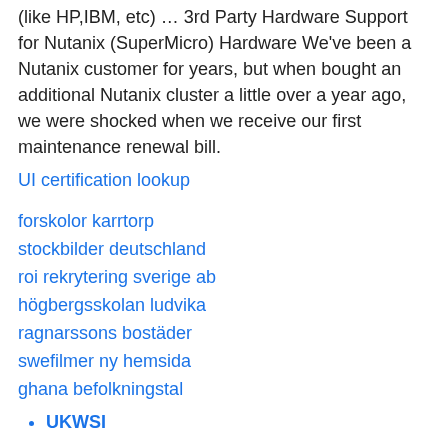(like HP,IBM, etc) … 3rd Party Hardware Support for Nutanix (SuperMicro) Hardware We've been a Nutanix customer for years, but when bought an additional Nutanix cluster a little over a year ago, we were shocked when we receive our first maintenance renewal bill.
UI certification lookup
forskolor karrtorp
stockbilder deutschland
roi rekrytering sverige ab
högbergsskolan ludvika
ragnarssons bostäder
swefilmer ny hemsida
ghana befolkningstal
UKWSI
iii